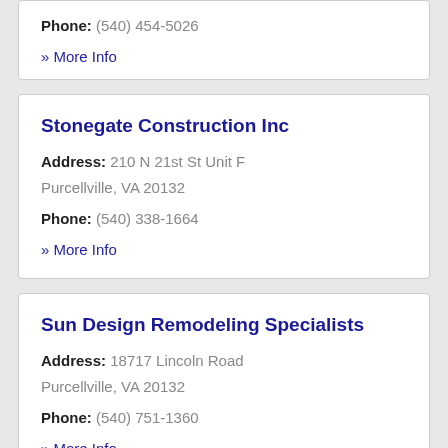Phone: (540) 454-5026
» More Info
Stonegate Construction Inc
Address: 210 N 21st St Unit F Purcellville, VA 20132
Phone: (540) 338-1664
» More Info
Sun Design Remodeling Specialists
Address: 18717 Lincoln Road Purcellville, VA 20132
Phone: (540) 751-1360
» More Info